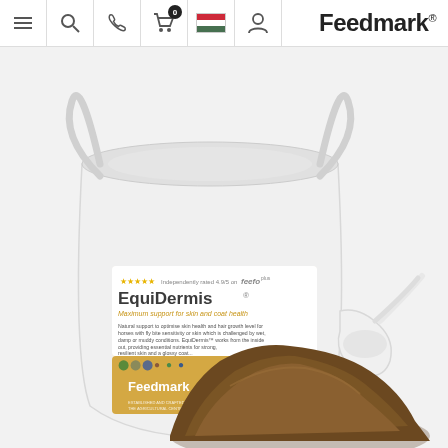Feedmark
[Figure (photo): White plastic bucket of Feedmark EquiDermis skin and coat supplement with a scoop and a pile of brown powder supplement in front, on a light grey background. The bucket label reads: independently rated 4.9/5 on feefo. EquiDermis. Maximum support for skin and coat health. Natural support to optimise skin health and hair growth level for horses with fly bite sensitivity or skin which is challenged by wet, damp or muddy conditions. EquiDermis works from the inside out, providing essential nutrients for strong, resilient skin and a glossy coat. Feedmark.]